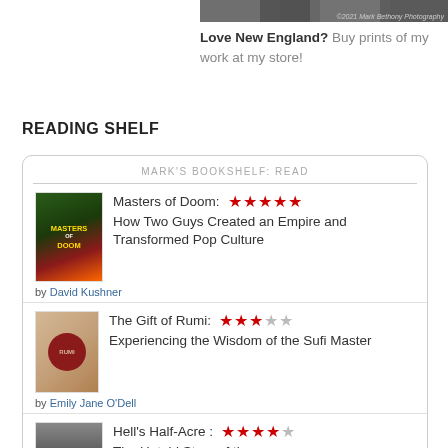[Figure (photo): Partial nature/landscape photograph strip at top right with photographer credit '©2021 Mark Bethony Photography']
Love New England? Buy prints of my work at my store!
READING SHELF
| MARK'S BOOKSHELF: READ |
| --- |
| Masters of Doom: ★★★★★ How Two Guys Created an Empire and Transformed Pop Culture | by David Kushner |
| The Gift of Rumi: ★★★☆☆ Experiencing the Wisdom of the Sufi Master | by Emily Jane O'Dell |
| Hell's Half-Acre: ★★★★☆ The Untold Story of the ... |  |